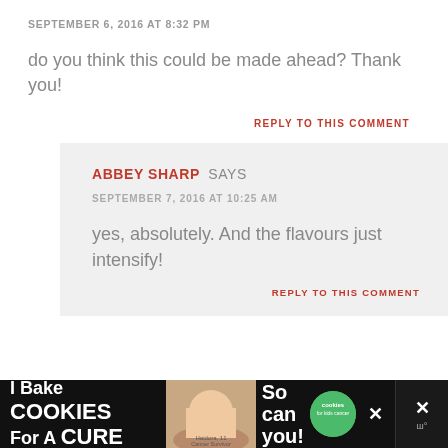SEPTEMBER 6, 2016 AT 8:32 PM
do you think this could be made ahead? Thank you!
REPLY TO THIS COMMENT
ABBEY SHARP SAYS
SEPTEMBER 7, 2016 AT 10:25 AM
yes, absolutely. And the flavours just intensify!
REPLY TO THIS COMMENT
[Figure (infographic): Advertisement banner: I Bake COOKIES For A CURE with image of child and cookies for kids cancer badge]